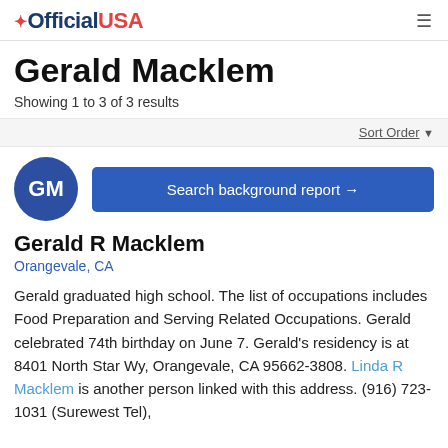OfficialUSA
Gerald Macklem
Showing 1 to 3 of 3 results
Sort Order
[Figure (other): Avatar circle with initials GM and Search background report button]
Gerald R Macklem
Orangevale, CA
Gerald graduated high school. The list of occupations includes Food Preparation and Serving Related Occupations. Gerald celebrated 74th birthday on June 7. Gerald's residency is at 8401 North Star Wy, Orangevale, CA 95662-3808. Linda R Macklem is another person linked with this address. (916) 723-1031 (Surewest Tel),